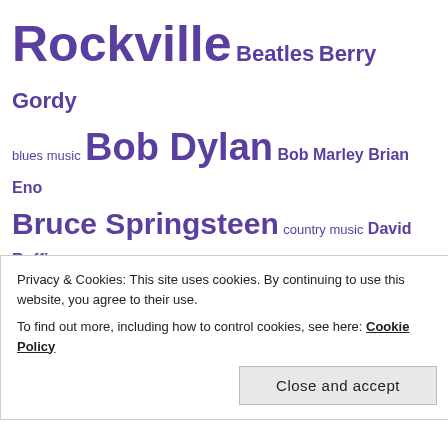[Figure (infographic): A tag cloud with music-related terms in varying font sizes, all in purple color. Terms include: Rockville, Beatles, Berry Gordy, blues music, Bob Dylan, Bob Marley, Brian Eno, Bruce Springsteen, country music, David Ruffin, Diana Ross, Elvis Costello, Elvis Presley, Flaming Lips, folk music, Four Tops, Funk Brothers, George Clinton, George Harrison, Gladys Knight, hip hop, Hitsville U.S.A., Holland-Dozier-Holland, indie rock, Jackson 5, Jam bands, James Brown, Jay-Z, jazz, Jimi Hendrix, Joel Francis, Joe]
Privacy & Cookies: This site uses cookies. By continuing to use this website, you agree to their use.
To find out more, including how to control cookies, see here: Cookie Policy
Close and accept